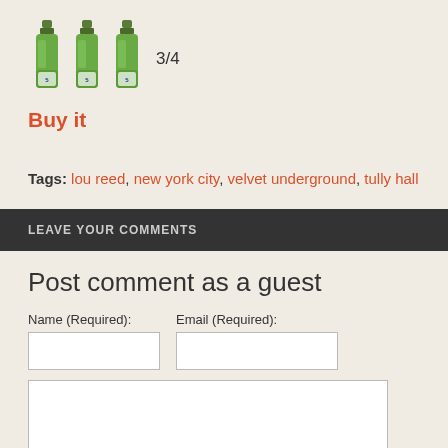[Figure (illustration): Three green beer bottles icon with rating 3/4]
Buy it
Tags: lou reed, new york city, velvet underground, tully hall
LEAVE YOUR COMMENTS
Post comment as a guest
Name (Required):
Email (Required):
[Figure (screenshot): Comment form with name input, email input, and text area. Bottom bar shows chat icon and 0 count.]